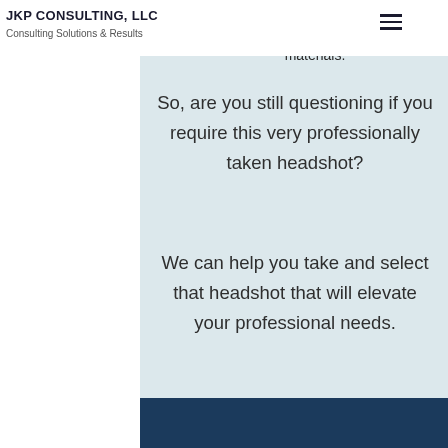JKP CONSULTING, LLC
Consulting Solutions & Results
publication in conference or speaking engagement related materials.
So, are you still questioning if you require this very professionally taken headshot?
We can help you take and select that headshot that will elevate your professional needs.